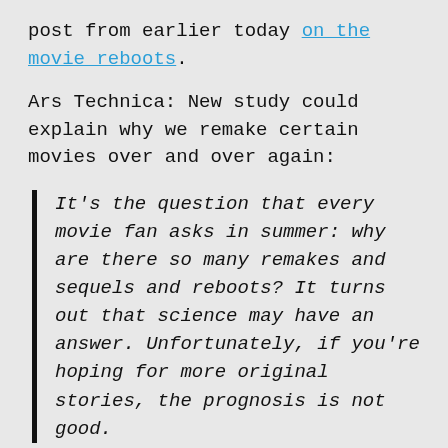post from earlier today on the movie reboots.
Ars Technica: New study could explain why we remake certain movies over and over again:
It’s the question that every movie fan asks in summer: why are there so many remakes and sequels and reboots? It turns out that science may have an answer. Unfortunately, if you’re hoping for more original stories, the prognosis is not good.